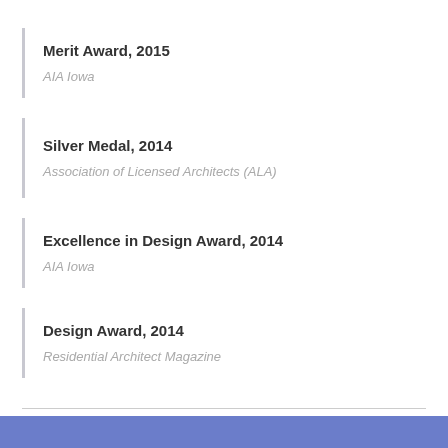Merit Award, 2015
AIA Iowa
Silver Medal, 2014
Association of Licensed Architects (ALA)
Excellence in Design Award, 2014
AIA Iowa
Design Award, 2014
Residential Architect Magazine